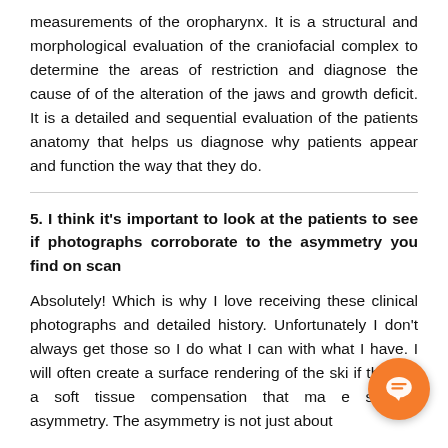measurements of the oropharynx. It is a structural and morphological evaluation of the craniofacial complex to determine the areas of restriction and diagnose the cause of of the alteration of the jaws and growth deficit. It is a detailed and sequential evaluation of the patients anatomy that helps us diagnose why patients appear and function the way that they do.
5. I think it's important to look at the patients to see if photographs corroborate to the asymmetry you find on scan
Absolutely! Which is why I love receiving these clinical photographs and detailed history. Unfortunately I don't always get those so I do what I can with what I have. I will often create a surface rendering of the ski... if there is a soft tissue compensation that ma...e skeletal asymmetry. The asymmetry is not just about